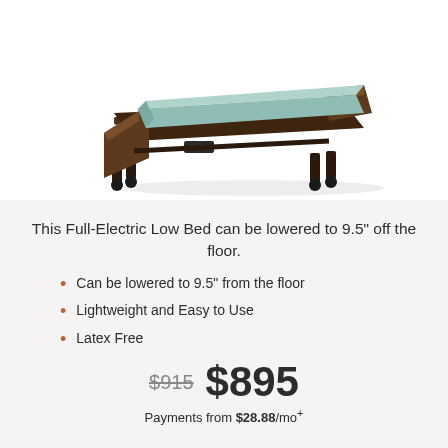[Figure (photo): Full-Electric Low Bed with dark walnut wood headboard and footboard, light blue mattress, and black metal frame with caster wheels, photographed at an angle on a white background.]
This Full-Electric Low Bed can be lowered to 9.5" off the floor.
Can be lowered to 9.5" from the floor
Lightweight and Easy to Use
Latex Free
$915  $895  Payments from $28.88/mo+